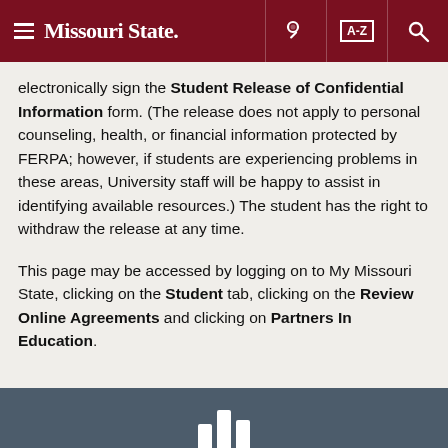Missouri State [navigation header with hamburger menu, key icon, A-Z index, and search icon]
electronically sign the Student Release of Confidential Information form. (The release does not apply to personal counseling, health, or financial information protected by FERPA; however, if students are experiencing problems in these areas, University staff will be happy to assist in identifying available resources.) The student has the right to withdraw the release at any time.
This page may be accessed by logging on to My Missouri State, clicking on the Student tab, clicking on the Review Online Agreements and clicking on Partners In Education.
[Footer bar with Missouri State icon]